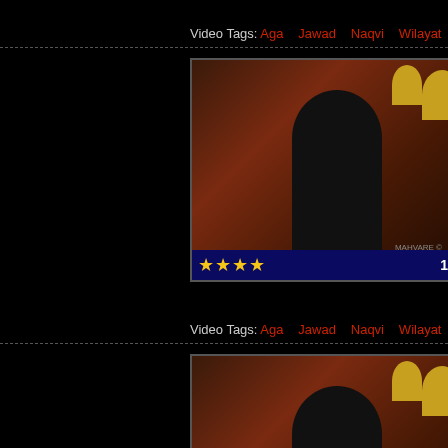Video Tags: Aga  Jawad  Naqvi  Wilayat  Mahvare  Deen  urdu  azadari  h
[Figure (screenshot): Video thumbnail showing a speaker in black clothing with mosque domes in background, 4-star rating, duration 14:17]
05-Wilayat Mahvare Deen 2B - Urdu
Wilayat Mahvare Deen urdu
Video Tags: Aga  Jawad  Naqvi  Wilayat  Mahvare  Deen  urdu  azadari  h
[Figure (screenshot): Video thumbnail showing a speaker in black clothing with mosque domes in background, 4-star rating, duration 12:27]
06-Wilayat Mahvare Deen 2C - Urdu
Wilayat Mahvare Deen a great set of Majalis in w